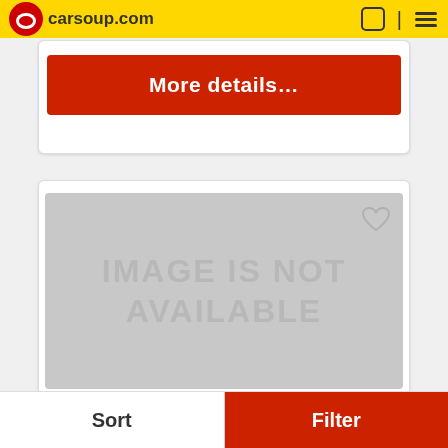carsoup.com
More details…
[Figure (other): Image placeholder with text 'IMAGE IS NOT AVAILABLE' on grey background with heart icon in top right corner]
2022 GMC 1500 SLE
Sort | Filter